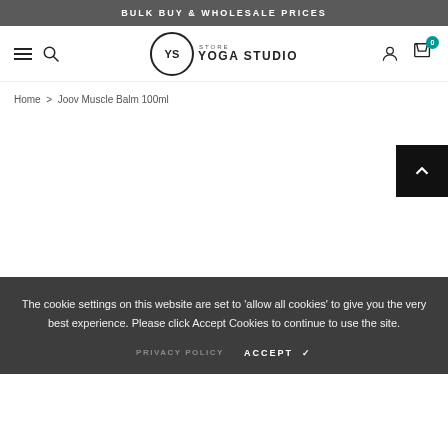BULK BUY & WHOLESALE PRICES
[Figure (logo): Yoga Studio Store logo with YS monogram in circle]
Home > Joov Muscle Balm 100ml
The cookie settings on this website are set to 'allow all cookies' to give you the very best experience. Please click Accept Cookies to continue to use the site.
PRIVACY POLICY   ACCEPT ✓